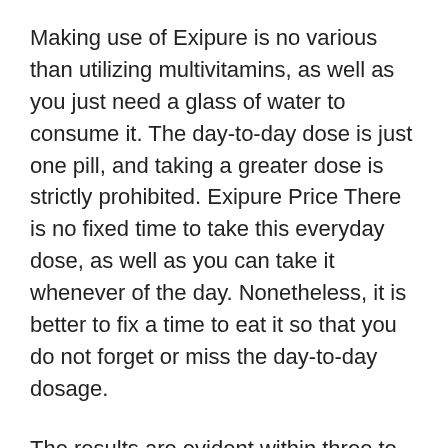Making use of Exipure is no various than utilizing multivitamins, as well as you just need a glass of water to consume it. The day-to-day dose is just one pill, and taking a greater dose is strictly prohibited. Exipure Price There is no fixed time to take this everyday dose, as well as you can take it whenever of the day. Nonetheless, it is better to fix a time to eat it so that you do not forget or miss the day-to-day dosage.
The results are evident within three to six months, but it can be made use of for longer than six months, also, as it has no negative effects to offer. Though private outcomes may differ, Exipure is for everybody, regardless of weight, however exceptionally overweight clients may take greater